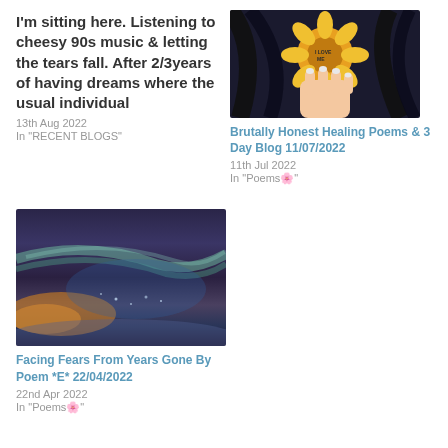I'm sitting here. Listening to cheesy 90s music & letting the tears fall. After 2/3years of having dreams where the usual individual
13th Aug 2022
In "RECENT BLOGS"
[Figure (illustration): Illustration of a hand holding a sunflower with 'I LOVE ME' text on the petals, person with dark hair]
Brutally Honest Healing Poems & 3 Day Blog 11/07/2022
11th Jul 2022
In "Poems🌸"
[Figure (photo): Photo of a colorful sky with aurora-like light streaks in shades of blue, green, yellow and orange]
Facing Fears From Years Gone By Poem *E* 22/04/2022
22nd Apr 2022
In "Poems🌸"